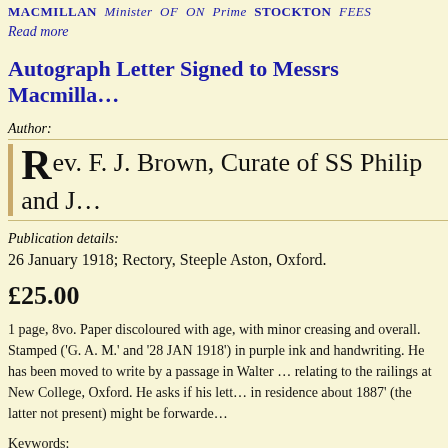MACMILLAN Minister OF ON Prime STOCKTON FEES Read more
Autograph Letter Signed to Messrs Macmilla…
Author:
Rev. F. J. Brown, Curate of SS Philip and J…
Publication details:
26 January 1918; Rectory, Steeple Aston, Oxford.
£25.00
1 page, 8vo. Paper discoloured with age, with minor creasing and overall. Stamped ('G. A. M.' and '28 JAN 1918') in purple ink and handwriting. He has been moved to write by a passage in Walter … relating to the railings at New College, Oxford. He asks if his lett… in residence about 1887' (the latter not present) might be forwarde…
Keywords:
Autograph Letters & ASTON BRITISH CLERGY clergymen…